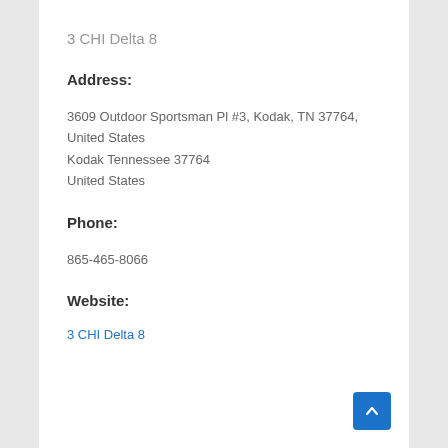3 CHI Delta 8
Address:
3609 Outdoor Sportsman Pl #3, Kodak, TN 37764, United States
Kodak Tennessee 37764
United States
Phone:
865-465-8066
Website:
3 CHI Delta 8